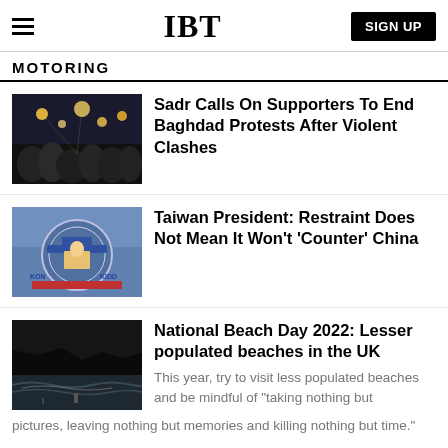IBT | SIGN UP
MOTORING
[Figure (photo): Crowd of protesters at night with lights in background]
Sadr Calls On Supporters To End Baghdad Protests After Violent Clashes
[Figure (photo): Taiwan President at podium with naval ship graphics in background, KIDD label visible]
Taiwan President: Restraint Does Not Mean It Won't 'Counter' China
[Figure (photo): Dark beach scene with waves and a lone figure on the shore]
National Beach Day 2022: Lesser populated beaches in the UK
This year, try to visit less populated beaches and be mindful of "taking nothing but pictures, leaving nothing but memories and killing nothing but time."